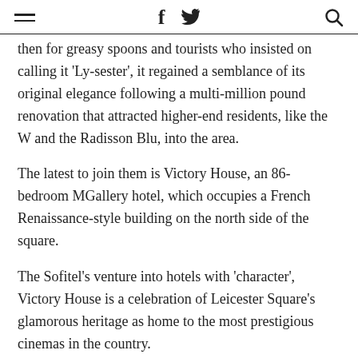≡  f  🐦  🔍
then for greasy spoons and tourists who insisted on calling it 'Ly-sester', it regained a semblance of its original elegance following a multi-million pound renovation that attracted higher-end residents, like the W and the Radisson Blu, into the area.
The latest to join them is Victory House, an 86-bedroom MGallery hotel, which occupies a French Renaissance-style building on the north side of the square.
The Sofitel's venture into hotels with 'character', Victory House is a celebration of Leicester Square's glamorous heritage as home to the most prestigious cinemas in the country.
Inside, the imposing terracotta-coloured facade gives way